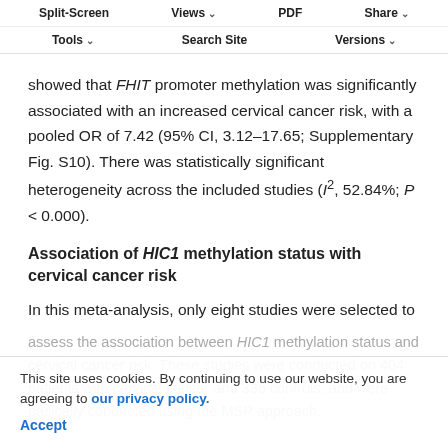Split-Screen | Views | PDF | Share | Tools | Search Site | Versions
showed that FHIT promoter methylation was significantly associated with an increased cervical cancer risk, with a pooled OR of 7.42 (95% CI, 3.12–17.65; Supplementary Fig. S10). There was statistically significant heterogeneity across the included studies (I², 52.84%; P < 0.000).
Association of HIC1 methylation status with cervical cancer risk
In this meta-analysis, only eight studies were selected to assess the association between HIC1 methylation status and cervical cancer risk. These studies were conducted on 404 patients with cervical cancer and 336 controls, and were basically conducted using the MSP approach.
This site uses cookies. By continuing to use our website, you are agreeing to our privacy policy. Accept